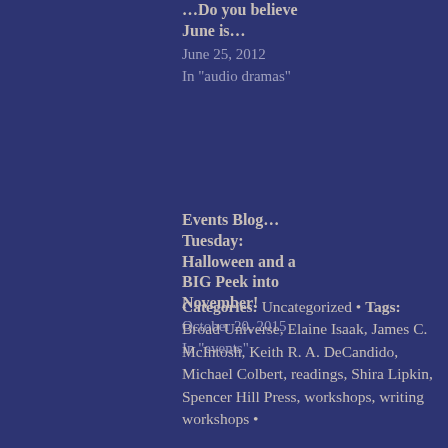...Do you believe June is...
June 25, 2012
In "audio dramas"
What's Happening at Annie's Book Stop in June!
June 11, 2012
In "audio dramas"
Events Blog... Tuesday: Halloween and a BIG Peek into November!
October 20, 2015
In "events"
Categories: Uncategorized • Tags: Broad Universe, Elaine Isaak, James C. McIntosh, Keith R. A. DeCandido, Michael Colbert, readings, Shira Lipkin, Spencer Hill Press, workshops, writing workshops •